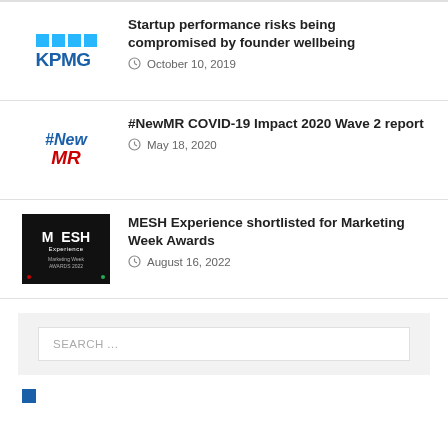[Figure (logo): KPMG logo with blue squares and blue bold text]
Startup performance risks being compromised by founder wellbeing
October 10, 2019
[Figure (logo): #NewMR logo with blue italic #New text and red italic MR text]
#NewMR COVID-19 Impact 2020 Wave 2 report
May 18, 2020
[Figure (logo): MESH Experience black logo box with white text and Marketing Week Awards 2022 text]
MESH Experience shortlisted for Marketing Week Awards
August 16, 2022
SEARCH ...